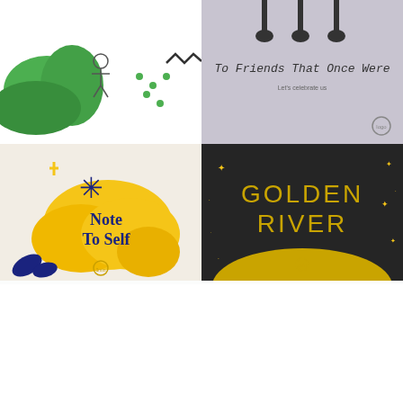[Figure (illustration): Album cover top-left: white background with green abstract shape, small figure icon, green dots pattern, and zigzag line]
[Figure (illustration): Album cover top-right: light purple/grey background with cartoon character legs at top, text 'To Friends That Once Were', subtitle 'Let's celebrate us', small logo]
[Figure (illustration): Album cover bottom-left: cream background with yellow/gold abstract blob shape, blue star/asterisk, text 'Note To Self' in dark navy, small logo at bottom]
[Figure (illustration): Album cover bottom-right: dark/black background with gold text 'GOLDEN RIVER', gold star sparkles, gold wave/hill shape at bottom, small logo]
- Song of The Week -
[Figure (screenshot): Audio player bar: dark background, play button triangle, time 00:00, grey progress bar, end time 00:00]